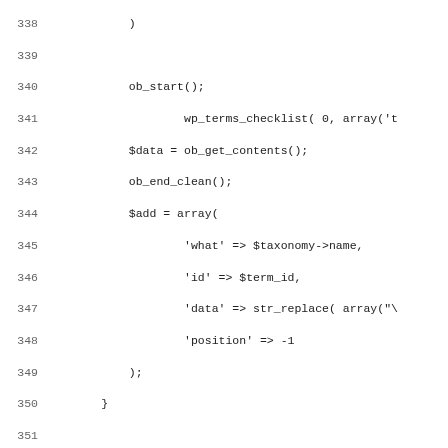[Figure (screenshot): Source code listing showing PHP lines 338-370, including ob_start(), wp_terms_checklist(), $data = ob_get_contents(), ob_end_clean(), $add = array() with keys 'what', 'id', 'data', 'position', ob_start(), wp_dropdown_categories(), $sup = ob_get_contents(), ob_end_clean(), $add['supplemental'] = array(), $x = new WP_Ajax_Response($add), $x->send(), closing brace, function wp_ajax_delete_comment(), $id = isset($_POST['id']), if(!$comment = get_comment($id)), wp_die(time()), if(!current_user_can('edit_comment', $comme]